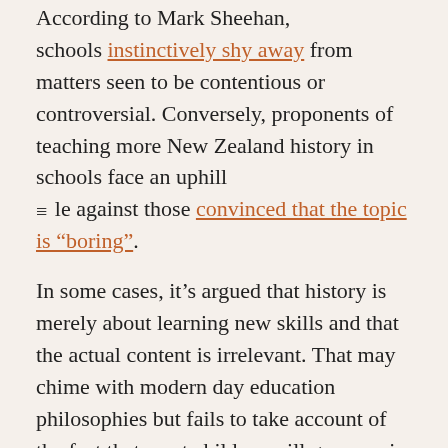According to Mark Sheehan, schools instinctively shy away from matters seen to be contentious or controversial. Conversely, proponents of teaching more New Zealand history in schools face an uphill ≡ tle against those convinced that the topic is "boring".
In some cases, it's argued that history is merely about learning new skills and that the actual content is irrelevant. That may chime with modern day education philosophies but fails to take account of the fact that most children will grow up in New Zealand.
Schools should be more than simply vocational training centres — they should equip young people to fully engage in and understand their communities. A local...